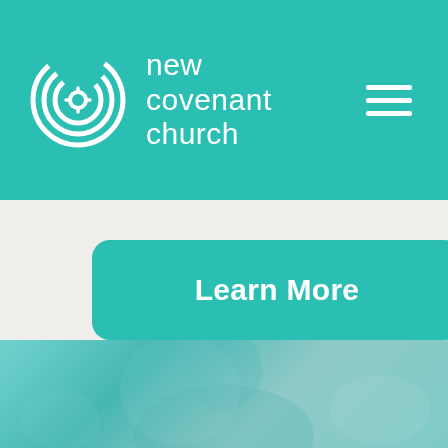new covenant church
Learn More
[Figure (photo): Person speaking or preaching, shown with a teal/blue color overlay, visible from shoulders up]